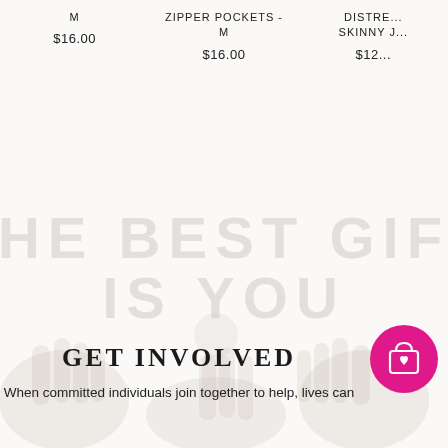M
$16.00
ZIPPER POCKETS - M
$16.00
DISTRE... SKINNY J...
$12...
[Figure (illustration): Watermark illustration with text 'THE BEST GIFT IS YOU' and hand/people silhouettes in a light beige/cream style]
GET INVOLVED
When committed individuals join together to help, lives can
[Figure (illustration): Magenta/pink circular button with a shopping bag and heart icon]